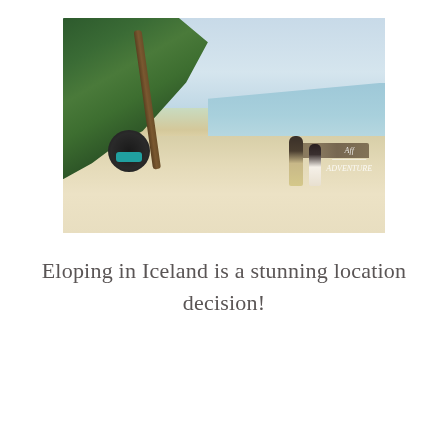[Figure (photo): A couple walking hand-in-hand on a white sandy tropical beach. There are palm trees and lush green vegetation on the left side, turquoise/light blue ocean water on the right, and overwater bungalows visible in the background. A large spherical swing chair hangs from a tree. A photographer watermark is visible in the lower right corner.]
Eloping in Iceland is a stunning location decision!